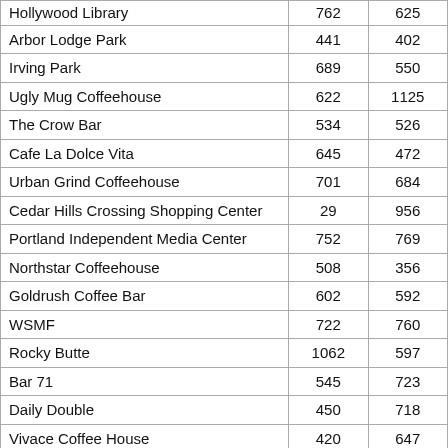|  |  |  |
| --- | --- | --- |
| Hollywood Library | 762 | 625 |
| Arbor Lodge Park | 441 | 402 |
| Irving Park | 689 | 550 |
| Ugly Mug Coffeehouse | 622 | 1125 |
| The Crow Bar | 534 | 526 |
| Cafe La Dolce Vita | 645 | 472 |
| Urban Grind Coffeehouse | 701 | 684 |
| Cedar Hills Crossing Shopping Center | 29 | 956 |
| Portland Independent Media Center | 752 | 769 |
| Northstar Coffeehouse | 508 | 356 |
| Goldrush Coffee Bar | 602 | 592 |
| WSMF | 722 | 760 |
| Rocky Butte | 1062 | 597 |
| Bar 71 | 545 | 723 |
| Daily Double | 450 | 718 |
| Vivace Coffee House | 420 | 647 |
| Dittos | 582 | 541 |
| Urban Grind In The Pearl | 482 | 672 |
| Crema Bakery and Cafe | 722 | 735 |